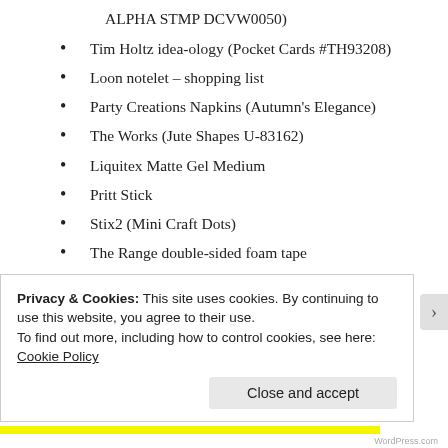ALPHA STMP DCVW0050)
Tim Holtz idea-ology (Pocket Cards #TH93208)
Loon notelet – shopping list
Party Creations Napkins (Autumn's Elegance)
The Works (Jute Shapes U-83162)
Liquitex Matte Gel Medium
Pritt Stick
Stix2 (Mini Craft Dots)
The Range double-sided foam tape
Ranger Glossy Accents
Privacy & Cookies: This site uses cookies. By continuing to use this website, you agree to their use.
To find out more, including how to control cookies, see here: Cookie Policy
Close and accept